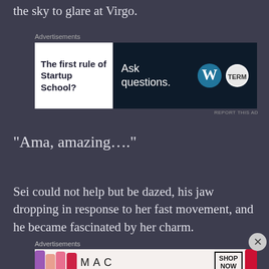the sky to glare at Virgo.
[Figure (other): Advertisement banner: The first rule of Startup School? Ask questions. WordPress and TerminalNoob logos.]
“Ama, amazing….”
Sei could not help but be dazed, his jaw dropping in response to her fast movement, and he became fascinated by her charm.
[Figure (other): MAC cosmetics advertisement showing lipsticks and SHOP NOW box.]